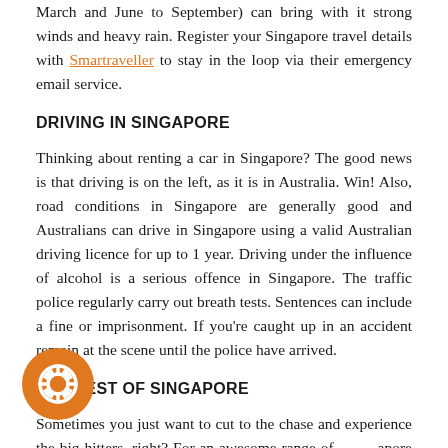March and June to September) can bring with it strong winds and heavy rain. Register your Singapore travel details with Smartraveller to stay in the loop via their emergency email service.
DRIVING IN SINGAPORE
Thinking about renting a car in Singapore? The good news is that driving is on the left, as it is in Australia. Win! Also, road conditions in Singapore are generally good and Australians can drive in Singapore using a valid Australian driving licence for up to 1 year. Driving under the influence of alcohol is a serious offence in Singapore. The traffic police regularly carry out breath tests. Sentences can include a fine or imprisonment. If you're caught up in an accident remain at the scene until the police have arrived.
THE BEST OF SINGAPORE
Sometimes you just want to cut to the chase and experience the big hitters, right? For an awesome range of Singapore travel lists, we love Time Out Singapore for their current recommendations and inspiring photo galleries.
[Figure (illustration): Orange circular help/support icon with a life preserver ring symbol]